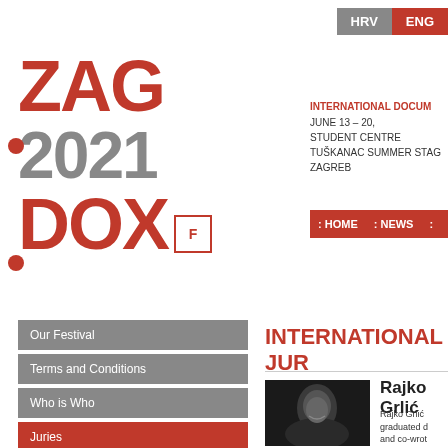HRV  ENG
[Figure (logo): ZagDox 2021 festival logo with red ZAG, gray 2021, red DOX text and a small red frame with F]
INTERNATIONAL DOCUMENTARY FILM FESTIVAL
JUNE 13 – 20,
STUDENT CENTRE
TUSKANAC SUMMER STAGE
ZAGREB
: HOME  : NEWS  :
Our Festival
Terms and Conditions
Who is Who
Juries
International Jury
Regional Jury
INTERNATIONAL JURY
[Figure (photo): Black and white portrait photo of Rajko Grlic, an older man smiling]
Rajko Grlić
Rajko Grlić graduated d and co-wrot internationa competition